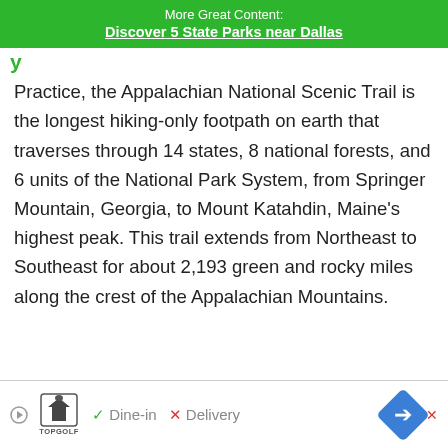More Great Content:
Discover 5 State Parks near Dallas
Practice, the Appalachian National Scenic Trail is the longest hiking-only footpath on earth that traverses through 14 states, 8 national forests, and 6 units of the National Park System, from Springer Mountain, Georgia, to Mount Katahdin, Maine's highest peak. This trail extends from Northeast to Southeast for about 2,193 green and rocky miles along the crest of the Appalachian Mountains.
[Figure (screenshot): Advertisement banner at the bottom of the page featuring TopGolf logo with Dine-in and Delivery options and a blue navigation arrow icon]